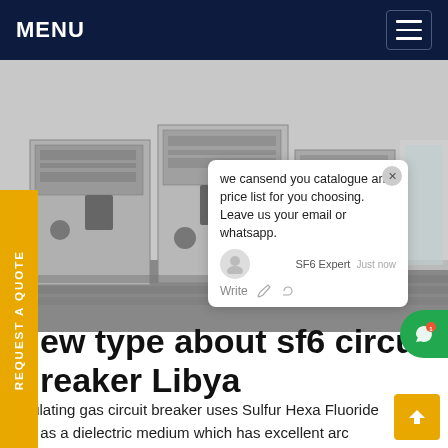MENU
[Figure (photo): Industrial SF6 circuit breaker equipment units in a factory or substation setting, grey metal cabinets with control panels, monochrome photo]
REQUEST A QUOTE
we cansend you catalogue and price list for you choosing. Leave us your email or whatsapp.
ew type about sf6 circuit reaker Libya
insulating gas circuit breaker uses Sulfur Hexa Fluoride gas as a dielectric medium which has excellent arc quenching properties and heat